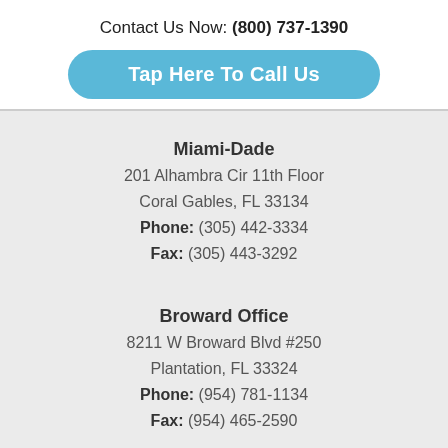Contact Us Now: (800) 737-1390
Tap Here To Call Us
Miami-Dade
201 Alhambra Cir 11th Floor
Coral Gables, FL 33134
Phone: (305) 442-3334
Fax: (305) 443-3292
Broward Office
8211 W Broward Blvd #250
Plantation, FL 33324
Phone: (954) 781-1134
Fax: (954) 465-2590